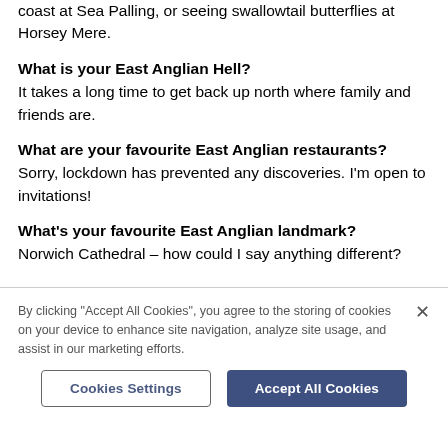coast at Sea Palling, or seeing swallowtail butterflies at Horsey Mere.
What is your East Anglian Hell?
It takes a long time to get back up north where family and friends are.
What are your favourite East Anglian restaurants?
Sorry, lockdown has prevented any discoveries. I'm open to invitations!
What's your favourite East Anglian landmark?
Norwich Cathedral – how could I say anything different?
By clicking "Accept All Cookies", you agree to the storing of cookies on your device to enhance site navigation, analyze site usage, and assist in our marketing efforts.